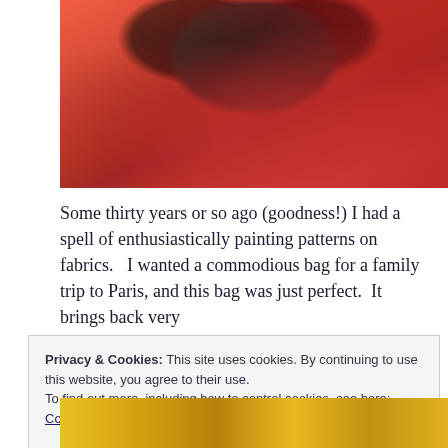[Figure (photo): A shiny metallic red/pink fabric bag, viewed from above showing its open top and dark interior. The bag has a wrinkled, glossy surface. Photographed on a beige background.]
Some thirty years or so ago (goodness!) I had a spell of enthusiastically painting patterns on fabrics.   I wanted a commodious bag for a family trip to Paris, and this bag was just perfect.  It brings back very
Privacy & Cookies: This site uses cookies. By continuing to use this website, you agree to their use.
To find out more, including how to control cookies, see here: Cookie Policy
[Figure (photo): Partial view of another colorful fabric item at the bottom of the page, showing yellow/gold and red colors.]